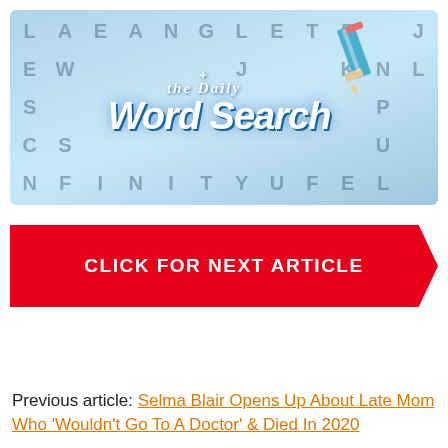[Figure (illustration): The Daily Word Search banner image showing a word search letter grid background in light blue with large bold letters, a decorative pencil graphic, and the logo text 'the Daily Word Search' in white with blue styling.]
CLICK FOR NEXT ARTICLE
Previous article: Selma Blair Opens Up About Late Mom Who 'Wouldn't Go To A Doctor' & Died In 2020